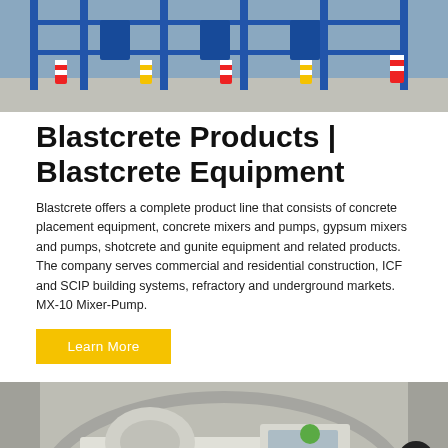[Figure (photo): Industrial blasting/concrete equipment setup with blue scaffolding, striped bollards, and machinery on a concrete floor]
Blastcrete Products | Blastcrete Equipment
Blastcrete offers a complete product line that consists of concrete placement equipment, concrete mixers and pumps, gypsum mixers and pumps, shotcrete and gunite equipment and related products. The company serves commercial and residential construction, ICF and SCIP building systems, refractory and underground markets. MX-10 Mixer-Pump.
Learn More
[Figure (photo): Concrete mixer truck and equipment in a tunnel or underground setting, grayscale photo with a green-helmeted worker visible]